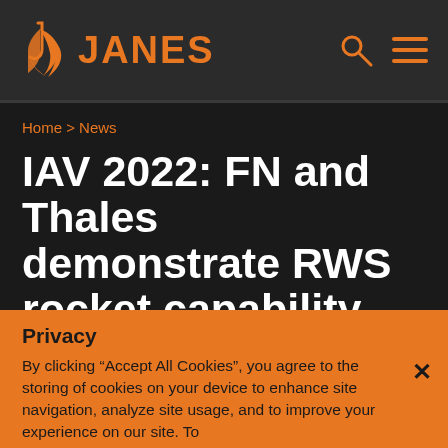JANES
Home > News
IAV 2022: FN and Thales demonstrate RWS rocket capability
27 JANUARY 2022
Privacy
By clicking “Accept All Cookies”, you agree to the storing of cookies on your device to enhance site navigation, analyze site usage, and to improve your experience on our site. To